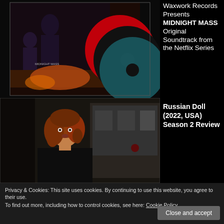[Figure (photo): Midnight Mass soundtrack album cover with vinyl records - a dark horror movie poster and two colored vinyl records (red and black/teal)]
Waxwork Records Presents MIDNIGHT MASS Original Soundtrack from the Netflix Series
[Figure (photo): Scene from Russian Doll showing a woman with curly red hair looking alarmed on a subway platform]
Russian Doll (2022, USA) Season 2 Review
Privacy & Cookies: This site uses cookies. By continuing to use this website, you agree to their use.
To find out more, including how to control cookies, see here: Cookie Policy
Close and accept
[Figure (photo): Bottom strip showing partial image]
Limited 001/ Slee...